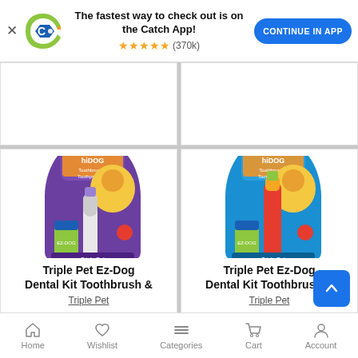[Figure (screenshot): Catch app banner with logo, star rating, and Continue in App button]
[Figure (photo): Triple Pet Ez-Dog Dental Kit Toothbrush product in purple packaging]
Triple Pet Ez-Dog Dental Kit Toothbrush &
Triple Pet
[Figure (photo): Triple Pet Ez-Dog Dental Kit Toothbrush product in blue/orange packaging]
Triple Pet Ez-Dog Dental Kit Toothbrush &
Triple Pet
[Figure (infographic): Bottom navigation bar with Home, Wishlist, Categories, Cart, Account icons]